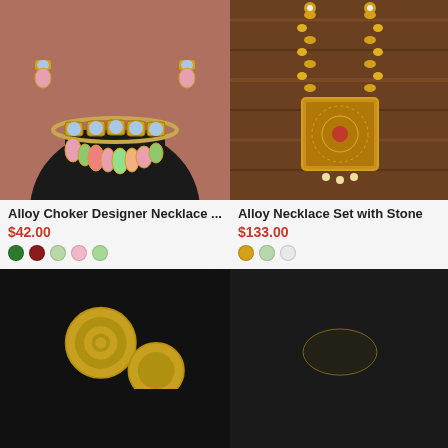[Figure (photo): Alloy Choker Designer Necklace set with colorful meena work beads on a black jewelry bust, with matching earrings, on a rose/mauve background]
[Figure (photo): Alloy Necklace Set with Stone - long gold chain with square pendant on a wooden background]
Alloy Choker Designer Necklace ...
$42.00
Alloy Necklace Set with Stone
$133.00
[Figure (photo): Gold circular stud earrings on a black background]
[Figure (photo): Jewelry item on a black background]